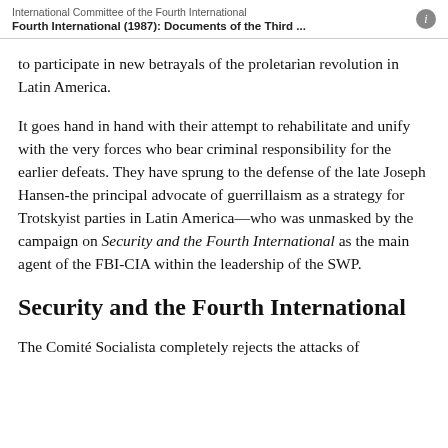International Committee of the Fourth International
Fourth International (1987): Documents of the Third ...
to participate in new betrayals of the proletarian revolution in Latin America.
It goes hand in hand with their attempt to rehabilitate and unify with the very forces who bear criminal responsibility for the earlier defeats. They have sprung to the defense of the late Joseph Hansen-the principal advocate of guerrillaism as a strategy for Trotskyist parties in Latin America—who was unmasked by the campaign on Security and the Fourth International as the main agent of the FBI-CIA within the leadership of the SWP.
Security and the Fourth International
The Comité Socialista completely rejects the attacks of